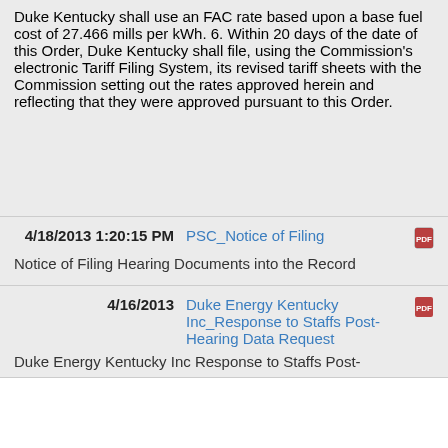Duke Kentucky shall use an FAC rate based upon a base fuel cost of 27.466 mills per kWh. 6. Within 20 days of the date of this Order, Duke Kentucky shall file, using the Commission's electronic Tariff Filing System, its revised tariff sheets with the Commission setting out the rates approved herein and reflecting that they were approved pursuant to this Order.
4/18/2013 1:20:15 PM
PSC_Notice of Filing
Notice of Filing Hearing Documents into the Record
4/16/2013
Duke Energy Kentucky Inc_Response to Staffs Post-Hearing Data Request
Duke Energy Kentucky Inc Response to Staffs Post-